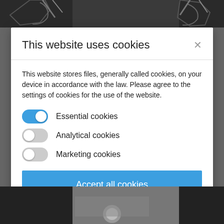[Figure (screenshot): Background website screenshot partially visible at top and bottom, with dark areas and figure outlines]
This website uses cookies
This website stores files, generally called cookies, on your device in accordance with the law. Please agree to the settings of cookies for the use of the website.
Essential cookies (toggle: on)
Analytical cookies (toggle: off)
Marketing cookies (toggle: off)
Accept all cookies
Allow only essential cookies
More information